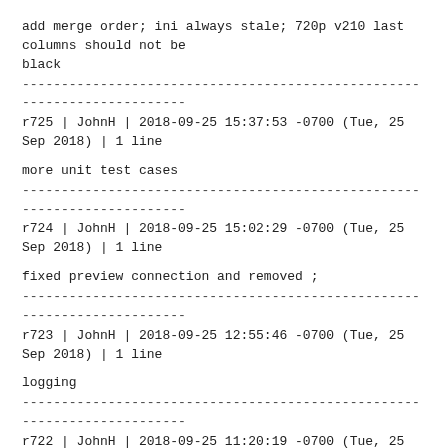add merge order; ini always stale; 720p v210 last columns should not be black
------------------------------------------------------------------------
r725 | JohnH | 2018-09-25 15:37:53 -0700 (Tue, 25 Sep 2018) | 1 line
more unit test cases
------------------------------------------------------------------------
r724 | JohnH | 2018-09-25 15:02:29 -0700 (Tue, 25 Sep 2018) | 1 line
fixed preview connection and removed ;
------------------------------------------------------------------------
r723 | JohnH | 2018-09-25 12:55:46 -0700 (Tue, 25 Sep 2018) | 1 line
logging
------------------------------------------------------------------------
r722 | JohnH | 2018-09-25 11:20:19 -0700 (Tue, 25 Sep 2018) | 1 line
logging
------------------------------------------------------------------------
r721 | JohnH | 2018-09-25 10:55:22 -0700 (Tue, 25 Sep 2018) | 1 line
logging
------------------------------------------------------------------------
r720 | JohnH | 2018-09-25 09:54:12 -0700 (Tue, 25 Sep 2018) | 1 line